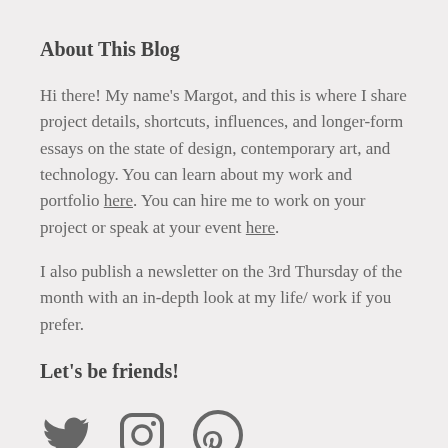About This Blog
Hi there! My name's Margot, and this is where I share project details, shortcuts, influences, and longer-form essays on the state of design, contemporary art, and technology. You can learn about my work and portfolio here. You can hire me to work on your project or speak at your event here.
I also publish a newsletter on the 3rd Thursday of the month with an in-depth look at my life/ work if you prefer.
Let's be friends!
[Figure (illustration): Three social media icons: Twitter bird, Instagram camera, and Pinterest pin, in dark gray color.]